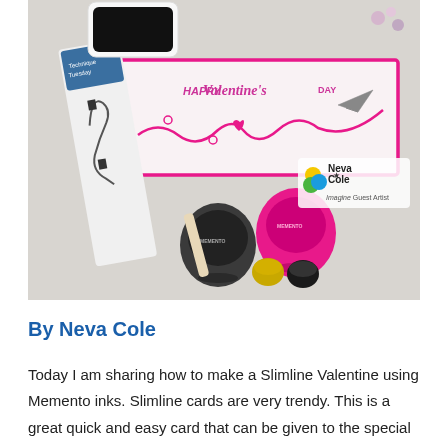[Figure (photo): Photo of crafting supplies for a Slimline Valentine card: a handmade card reading 'HAPPY Valentine's DAY' with pink border and heart arrow design, stamp sets, Memento ink pads in black and pink, and small ink refills in yellow and black. Neva Cole Imagine Guest Artist logo visible.]
By Neva Cole
Today I am sharing how to make a Slimline Valentine using Memento inks. Slimline cards are very trendy. This is a great quick and easy card that can be given to the special guy in